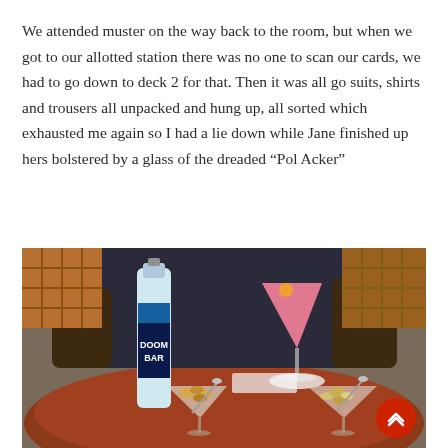We attended muster on the way back to the room, but when we got to our allotted station there was no one to scan our cards, we had to go down to deck 2 for that. Then it was all go suits, shirts and trousers all unpacked and hung up, all sorted which exhausted me again so I had a lie down while Jane finished up hers bolstered by a glass of the dreaded “Pol Acker”
[Figure (photo): Photo of a bar table with a Doom Bar beer bottle, a pink cocktail in a martini glass with an orange garnish, and two martini glasses filled with nuts. A person in dark clothing is seated in the background.]